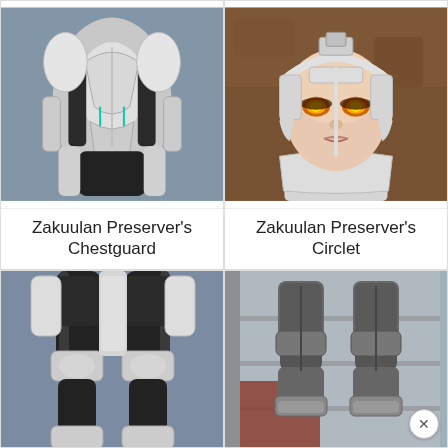[Figure (screenshot): Game screenshot showing Zakuulan Preserver's Chestguard armor piece – white and black sci-fi chest armor on a character]
Zakuulan Preserver's Chestguard
[Figure (screenshot): Game screenshot showing Zakuulan Preserver's Circlet – close-up of a female character's face wearing a white sci-fi circlet helmet with glowing yellow eyes]
Zakuulan Preserver's Circlet
[Figure (screenshot): Game screenshot showing Zakuulan Preserver's leg armor – black and white sci-fi pants/leggings on a character]
[Figure (screenshot): Game screenshot showing Zakuulan Preserver's boots – dark metallic armored boots/greaves on a character standing on a platform]